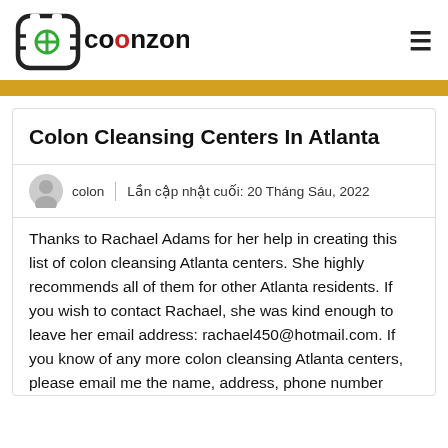coolonzone.org
Colon Cleansing Centers In Atlanta
colon | Lần cập nhật cuối: 20 Tháng Sáu, 2022
Thanks to Rachael Adams for her help in creating this list of colon cleansing Atlanta centers. She highly recommends all of them for other Atlanta residents. If you wish to contact Rachael, she was kind enough to leave her email address: rachael450@hotmail.com. If you know of any more colon cleansing Atlanta centers, please email me the name, address, phone number